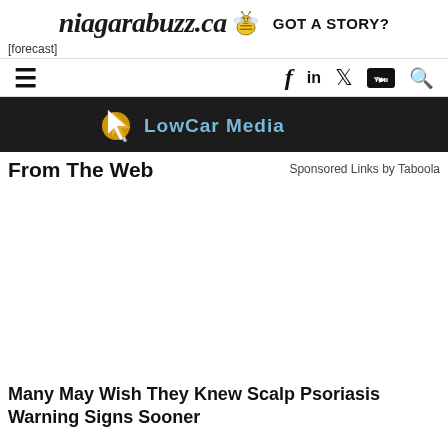niagarabuzz.ca GOT A STORY?
[forecast]
[Figure (screenshot): Navigation bar with hamburger menu, Facebook, LinkedIn, Twitter, YouTube, and Search icons]
[Figure (logo): LowCar Media logo on dark background banner]
From The Web
Sponsored Links by Taboola
Many May Wish They Knew Scalp Psoriasis Warning Signs Sooner